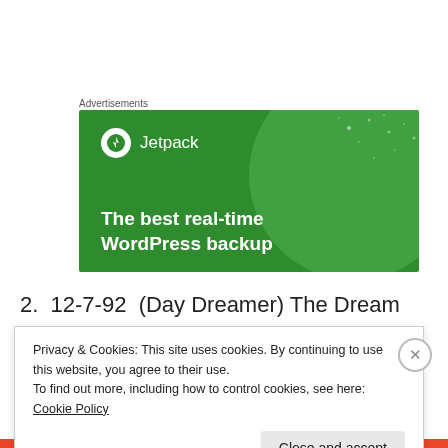Advertisements
[Figure (illustration): Jetpack advertisement banner with green background, Jetpack logo, and text 'The best real-time WordPress backup']
2.  12-7-92  (Day Dreamer) The Dream
Privacy & Cookies: This site uses cookies. By continuing to use this website, you agree to their use.
To find out more, including how to control cookies, see here: Cookie Policy
Close and accept